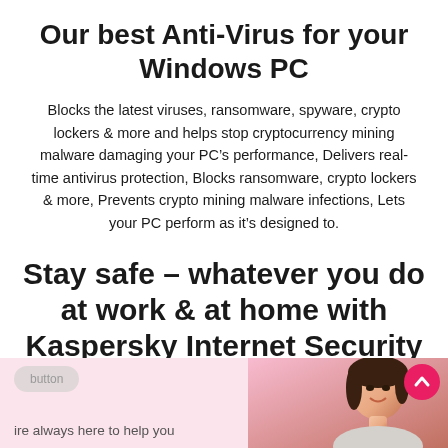Our best Anti-Virus for your Windows PC
Blocks the latest viruses, ransomware, spyware, crypto lockers & more and helps stop cryptocurrency mining malware damaging your PC’s performance, Delivers real-time antivirus protection, Blocks ransomware, crypto lockers & more, Prevents crypto mining malware infections, Lets your PC perform as it’s designed to.
Stay safe – whatever you do at work & at home with Kaspersky Internet Security
[Figure (photo): Bottom banner with a pink background, a smiling woman on the right, a grey pill-shaped button, helper text 'ire always here to help you', and a pink circular scroll-up arrow button.]